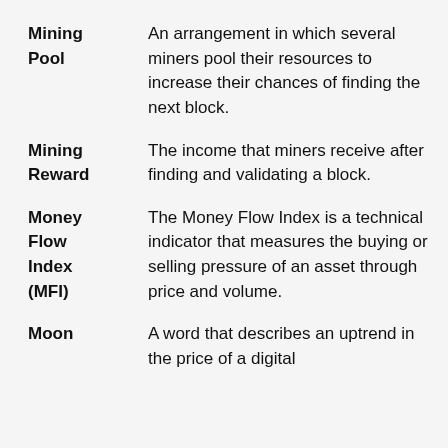Mining Pool: An arrangement in which several miners pool their resources to increase their chances of finding the next block.
Mining Reward: The income that miners receive after finding and validating a block.
Money Flow Index (MFI): The Money Flow Index is a technical indicator that measures the buying or selling pressure of an asset through price and volume.
Moon: A word that describes an uptrend in the price of a digital